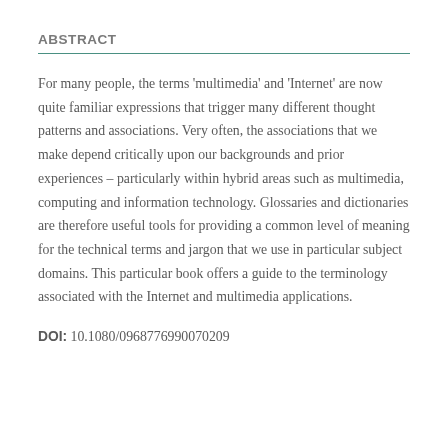ABSTRACT
For many people, the terms 'multimedia' and 'Internet' are now quite familiar expressions that trigger many different thought patterns and associations. Very often, the associations that we make depend critically upon our backgrounds and prior experiences – particularly within hybrid areas such as multimedia, computing and information technology. Glossaries and dictionaries are therefore useful tools for providing a common level of meaning for the technical terms and jargon that we use in particular subject domains. This particular book offers a guide to the terminology associated with the Internet and multimedia applications.
DOI: 10.1080/0968776990070209